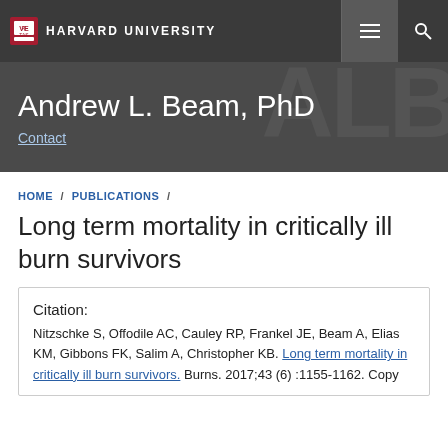HARVARD UNIVERSITY
Andrew L. Beam, PhD
Contact
HOME / PUBLICATIONS /
Long term mortality in critically ill burn survivors
Citation: Nitzschke S, Offodile AC, Cauley RP, Frankel JE, Beam A, Elias KM, Gibbons FK, Salim A, Christopher KB. Long term mortality in critically ill burn survivors. Burns. 2017;43 (6) :1155-1162. Copy